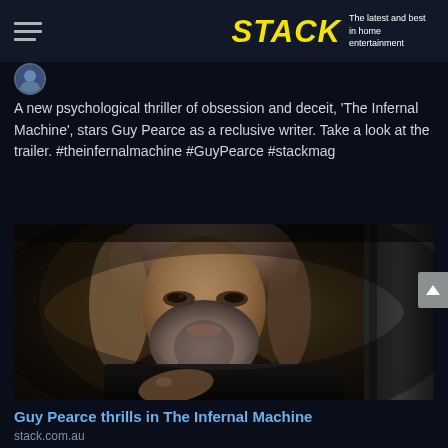STACK — The latest and best in home entertainment
A new psychological thriller of obsession and deceit, 'The Infernal Machine', stars Guy Pearce as a reclusive writer. Take a look at the trailer. #theinfernalmachine #GuyPearce #stackmag
[Figure (photo): Guy Pearce as a rugged, long-haired man with a beard, reaching forward, shot in a moody dark cinematic style inside what appears to be a vehicle interior.]
Guy Pearce thrills in The Infernal Machine
stack.com.au